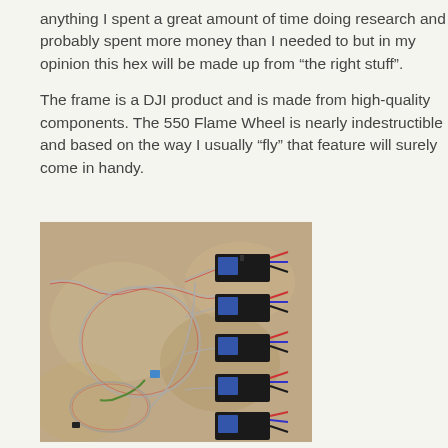anything I spent a great amount of time doing research and probably spent more money than I needed to but in my opinion this hex will be made up from “the right stuff”.
The frame is a DJI product and is made from high-quality components. The 550 Flame Wheel is nearly indestructible and based on the way I usually “fly” that feature will surely come in handy.
[Figure (photo): Photo of six electronic speed controllers (ESCs) with red, blue, and black wires laid out on a sandy/dirt surface, connected together with twisted signal wires.]